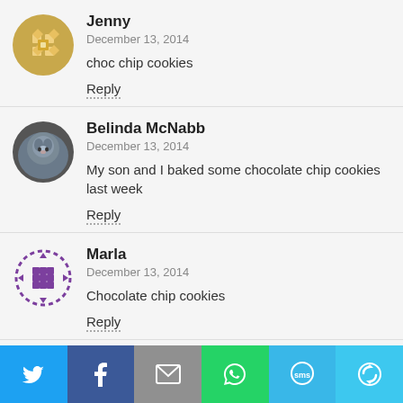[Figure (illustration): Avatar icon for Jenny - gold/yellow geometric snowflake/grid pattern circle]
Jenny
December 13, 2014
choc chip cookies
Reply
[Figure (photo): Avatar photo for Belinda McNabb - circular photo of a cat]
Belinda McNabb
December 13, 2014
My son and I baked some chocolate chip cookies last week
Reply
[Figure (logo): Avatar icon for Marla - purple dashed circle with squares pattern]
Marla
December 13, 2014
Chocolate chip cookies
Reply
[Figure (infographic): Social sharing bar with Twitter, Facebook, Email, WhatsApp, SMS, and share icons]